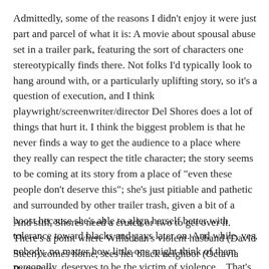Admittedly, some of the reasons I didn't enjoy it were just part and parcel of what it is: A movie about spousal abuse set in a trailer park, featuring the sort of characters one stereotypically finds there. Not folks I'd typically look to hang around with, or a particularly uplifting story, so it's a question of execution, and I think playwright/screenwriter/director Del Shores does a lot of things that hurt it. I think the biggest problem is that he never finds a way to get the audience to a place where they really can respect the title character; the story seems to be coming at its story from a place of "even these people don't deserve this"; she's just pitiable and pathetic and surrounded by other trailer trash, given a bit of a boost because she's able to align herself better with tolerance toward blacks and gays later on. And while, yes, nobody, no matter how little one might think of them personally, deserves to be the victim of violence... That's a low bar to clear, isn't it?
And still, Shores need a crutch or two to get over it. There's a point where Willadean's violent husband (David Steen) comes home, sees her black neighbor (Octavia Butler) is